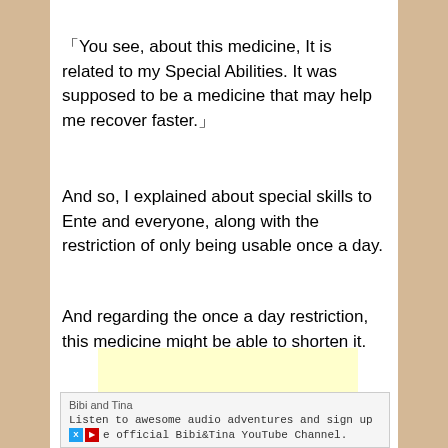「You see, about this medicine, It is related to my Special Abilities. It was supposed to be a medicine that may help me recover faster.」
And so, I explained about special skills to Ente and everyone, along with the restriction of only being usable once a day.
And regarding the once a day restriction, this medicine might be able to shorten it.
[Figure (other): Light yellow advertisement placeholder box]
Bibi and Tina
Listen to awesome audio adventures and sign up e official Bibi&Tina YouTube Channel.